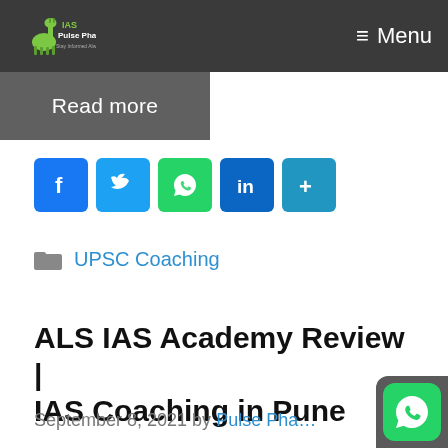Pulse Phase — Menu
Read more
[Figure (other): Social sharing buttons: Facebook, Twitter, WhatsApp, LinkedIn, More]
UPSC Coaching
ALS IAS Academy Review | IAS Coaching in Pune
September 8, 2021 by Pulse Phase
[Figure (other): WhatsApp floating button at bottom right]